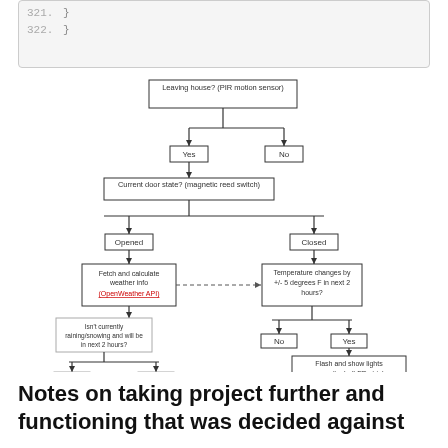[Figure (flowchart): Flowchart showing logic: Leaving house? (PIR motion sensor) → Yes → Current door state? (magnetic reed switch) → Opened → Fetch and calculate weather info (OpenWeather API) → Isn't currently raining/snowing and will be in next 2 hours? → No/Yes → Play corresponding sound sequence (buzzer). Closed branch → Temperature changes by +/- 5 degrees F in next 2 hours? → No/Yes → Flash and show lights accordingly (LED strip).]
Notes on taking project further and functioning that was decided against